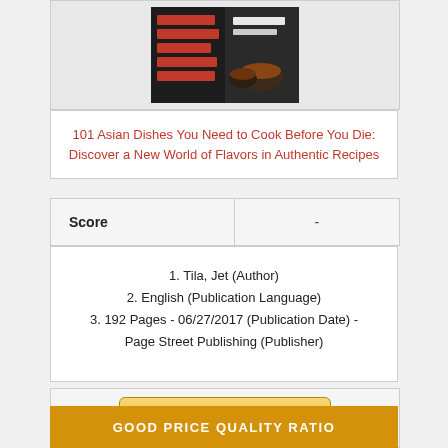[Figure (photo): Book cover of '101 Asian Dishes You Need to Cook Before You Die' by Jet Tila, dark background with red text]
101 Asian Dishes You Need to Cook Before You Die: Discover a New World of Flavors in Authentic Recipes
| Score | - |
| --- | --- |
1. Tila, Jet (Author)
2. English (Publication Language)
3. 192 Pages - 06/27/2017 (Publication Date) - Page Street Publishing (Publisher)
CHECK PRICE
GOOD PRICE QUALITY RATIO